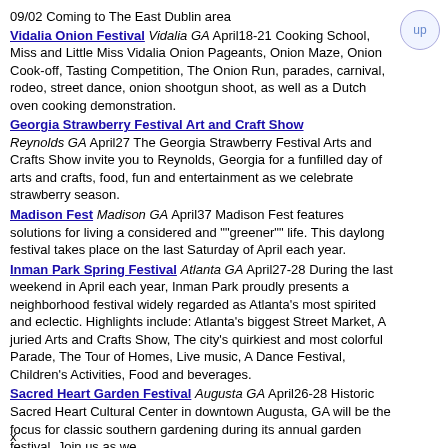09/02 Coming to The East Dublin area
Vidalia Onion Festival Vidalia GA April18-21 Cooking School, Miss and Little Miss Vidalia Onion Pageants, Onion Maze, Onion Cook-off, Tasting Competition, The Onion Run, parades, carnival, rodeo, street dance, onion shootgun shoot, as well as a Dutch oven cooking demonstration.
Georgia Strawberry Festival Art and Craft Show Reynolds GA April27 The Georgia Strawberry Festival Arts and Crafts Show invite you to Reynolds, Georgia for a funfilled day of arts and crafts, food, fun and entertainment as we celebrate strawberry season.
Madison Fest Madison GA April37 Madison Fest features solutions for living a considered and ""greener"" life. This daylong festival takes place on the last Saturday of April each year.
Inman Park Spring Festival Atlanta GA April27-28 During the last weekend in April each year, Inman Park proudly presents a neighborhood festival widely regarded as Atlanta's most spirited and eclectic. Highlights include: Atlanta's biggest Street Market, A juried Arts and Crafts Show, The city's quirkiest and most colorful Parade, The Tour of Homes, Live music, A Dance Festival, Children's Activities, Food and beverages.
Sacred Heart Garden Festival Augusta GA April26-28 Historic Sacred Heart Cultural Center in downtown Augusta, GA will be the focus for classic southern gardening during its annual garden festival. Join us as we